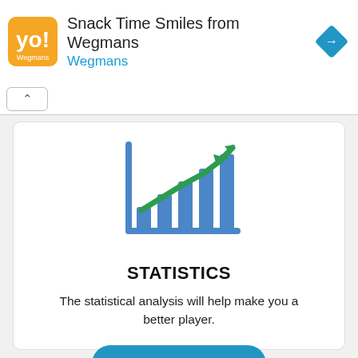[Figure (screenshot): Wegmans Snack Time Smiles advertisement banner with orange logo, title text, blue diamond navigation icon]
[Figure (infographic): Bar chart icon with green upward trending arrow line overlay, representing statistics feature]
STATISTICS
The statistical analysis will help make you a better player.
Statistics